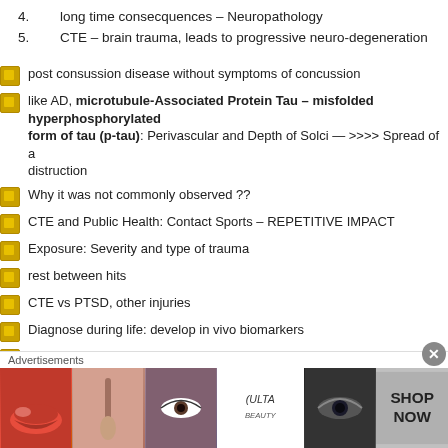4. long time consecquences – Neuropathology
5. CTE – brain trauma, leads to progressive neuro-degeneration
post consussion disease without symptoms of concussion
like AD, microtubule-Associated Protein Tau – misfolded hyperphosphorylated form of tau (p-tau): Perivascular and Depth of Solci — >>>> Spread of a distruction
Why it was not commonly observed ??
CTE and Public Health: Contact Sports – REPETITIVE IMPACT
Exposure: Severity and type of trauma
rest between hits
CTE vs PTSD, other injuries
Diagnose during life: develop in vivo biomarkers
How to create Biomarkers: DETECT Study: 100 NFL players vs Control – involvement
All imaging were not specific to Tau detection –
Brain PET Tau Imaging developed: Invasive, expensive, we need a blood
Tau deposits
Blood based Biomarkers for CTE – high sensitivity – FOllow up blo…
[Figure (photo): Ulta Beauty advertisement banner with cosmetic product images (lips, brush, eye makeup, Ulta logo, eye photo) and SHOP NOW text]